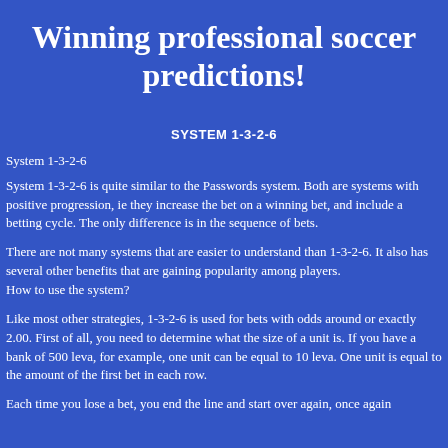Winning professional soccer predictions!
SYSTEM 1-3-2-6
System 1-3-2-6
System 1-3-2-6 is quite similar to the Passwords system. Both are systems with positive progression, ie they increase the bet on a winning bet, and include a betting cycle. The only difference is in the sequence of bets.
There are not many systems that are easier to understand than 1-3-2-6. It also has several other benefits that are gaining popularity among players. How to use the system?
Like most other strategies, 1-3-2-6 is used for bets with odds around or exactly 2.00. First of all, you need to determine what the size of a unit is. If you have a bank of 500 leva, for example, one unit can be equal to 10 leva. One unit is equal to the amount of the first bet in each row.
Each time you lose a bet, you end the line and start over again, once again